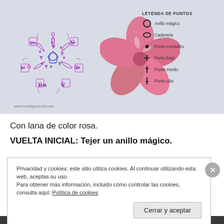[Figure (illustration): Crochet pattern diagram showing a 5-petal flower in purple/blue with crochet symbols, next to a photo of a pink crocheted star/flower. Legend on right lists crochet stitch symbols: Anillo mágico, Cadeneta, Punto corredizo, Punto bajo, Punto medio, Punto alto. Watermark: www.mundaycrochet.com]
Con lana de color rosa.
VUELTA INICIAL: Tejer un anillo mágico.
Privacidad y cookies: este sitio utiliza cookies. Al continuar utilizando esta web, aceptas su uso.
Para obtener más información, incluido cómo controlar las cookies, consulta aquí: Política de cookies
Cerrar y aceptar
INFORMA SOBRE ESTO: ANUNCIOS